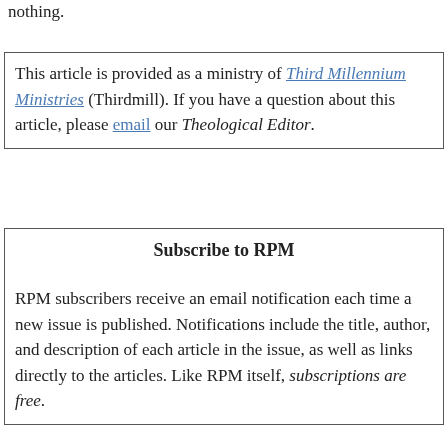nothing.
This article is provided as a ministry of Third Millennium Ministries (Thirdmill). If you have a question about this article, please email our Theological Editor.
Subscribe to RPM
RPM subscribers receive an email notification each time a new issue is published. Notifications include the title, author, and description of each article in the issue, as well as links directly to the articles. Like RPM itself, subscriptions are free.